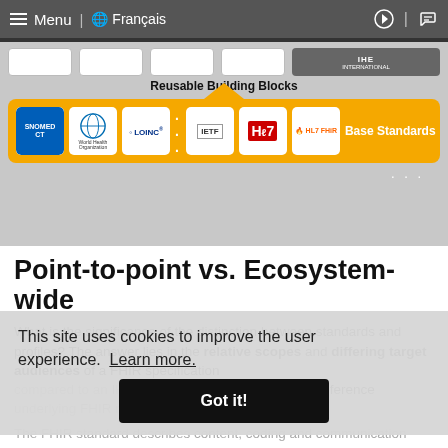Menu | Français
[Figure (infographic): IHE ecosystem diagram showing Reusable Building Blocks above and Base Standards row (SNOMED, WHO, LOINC, IETF, HL7, HL7 FHIR) on an orange background with connecting arrow]
Point-to-point vs. Ecosystem-wide
What is the significance of the distinction between standards and profiles? The answer lies in the relative scopes and differing target audiences of a FHIR specification compared to an IHE Profile (which may, of course, reference underlying FHIR resources).
The FHIR standard describes content, coding and communication ... particular health data resources. FHIR specs are written for and targeted at software engineers. The scope of IHE Profiles, however, is
This site uses cookies to improve the user experience. Learn more.
Got it!